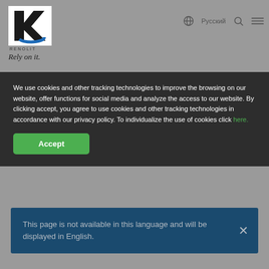[Figure (logo): RENOLIT logo with black and blue K-shaped mark, text RENOLIT below, tagline 'Rely on it.' in italic]
[Figure (screenshot): Navigation bar icons: globe with 'Русский' language label, search icon, hamburger menu icon]
We use cookies and other tracking technologies to improve the browsing on our website, offer functions for social media and analyze the access to our website. By clicking accept, you agree to use cookies and other tracking technologies in accordance with our privacy policy. To individualize the use of cookies click here.
Accept
This page is not available in this language and will be displayed in English.